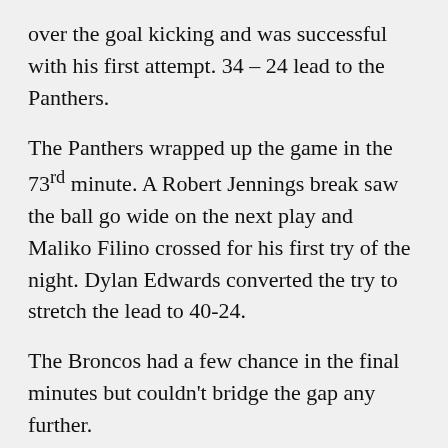over the goal kicking and was successful with his first attempt. 34 – 24 lead to the Panthers.
The Panthers wrapped up the game in the 73rd minute. A Robert Jennings break saw the ball go wide on the next play and Maliko Filino crossed for his first try of the night. Dylan Edwards converted the try to stretch the lead to 40-24.
The Broncos had a few chance in the final minutes but couldn't bridge the gap any further.
FULL TIME: Panthers 40-24
Tries: Panthers – Stanton Albert, Brent Naden x